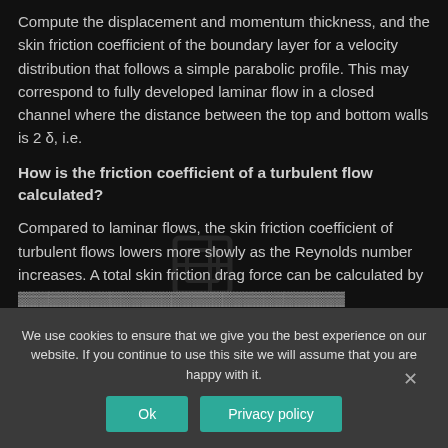Compute the displacement and momentum thickness, and the skin friction coefficient of the boundary layer for a velocity distribution that follows a simple parabolic profile. This may correspond to fully developed laminar flow in a closed channel where the distance between the top and bottom walls is 2 δ, i.e.
How is the friction coefficient of a turbulent flow calculated?
Compared to laminar flows, the skin friction coefficient of turbulent flows lowers more slowly as the Reynolds number increases. A total skin friction drag force can be calculated by
We use cookies to ensure that we give you the best experience on our website. If you continue to use this site we will assume that you are happy with it.